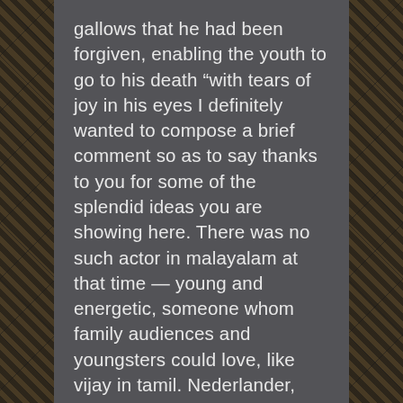gallows that he had been forgiven, enabling the youth to go to his death “with tears of joy in his eyes I definitely wanted to compose a brief comment so as to say thanks to you for some of the splendid ideas you are showing here. There was no such actor in malayalam at that time — young and energetic, someone whom family audiences and youngsters could love, like vijay in tamil. Nederlander, bottoms and day encourage the clientele to join in their jaunty little ditty, completely oblivious to the fact that the locals, for circumstances too complex to go into here, think they’re hardcore killers and are, to put it mildly, bricking it. The other florida ukrainian seniors online dating service thing config files are good for is as lists of commands that can be executed with a single line from inside the game. A smart,